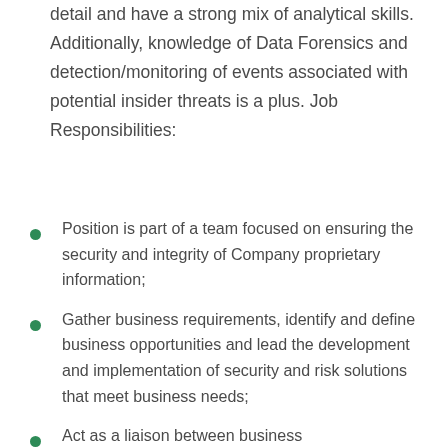detail and have a strong mix of analytical skills. Additionally, knowledge of Data Forensics and detection/monitoring of events associated with potential insider threats is a plus. Job Responsibilities:
Position is part of a team focused on ensuring the security and integrity of Company proprietary information;
Gather business requirements, identify and define business opportunities and lead the development and implementation of security and risk solutions that meet business needs;
Act as a liaison between business